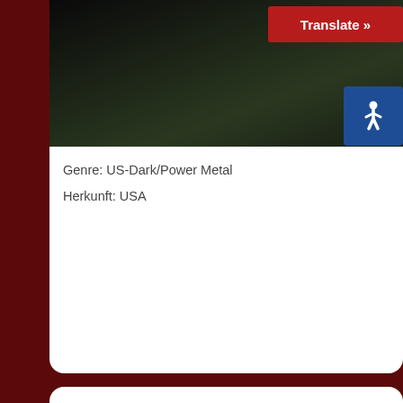[Figure (photo): Band photo showing musicians in dark outdoor setting]
Genre: US-Dark/Power Metal
Herkunft: USA
| News | Discographie |
| Biographie | Mitglieder |
| Galerie | Links |
News